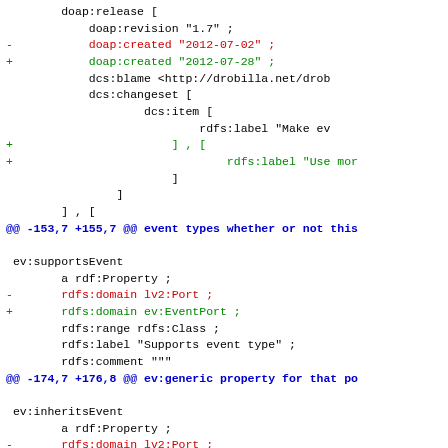doap:release [
    doap:revision "1.7" ;
-       doap:created "2012-07-02" ;
+       doap:created "2012-07-28" ;
        dcs:blame <http://drobilla.net/drob
        dcs:changeset [
                dcs:item [
                        rdfs:label "Make ev
+                       ] , [
+                               rdfs:label "Use mor
                        ]
                ]
        ] , [
@@ -153,7 +155,7 @@ event types whether or not this

 ev:supportsEvent
        a rdf:Property ;
-       rdfs:domain lv2:Port ;
+       rdfs:domain ev:EventPort ;
        rdfs:range rdfs:Class ;
        rdfs:label "Supports event type" ;
        rdfs:comment """
@@ -174,7 +176,8 @@ ev:generic property for that po

 ev:inheritsEvent
        a rdf:Property ;
-       rdfs:domain lv2:Port ;
+       rdfs:domain ev:EventPort ,
+               lv2:OutputPort ;
        rdfs:range lv2:Port ;
        rdfs:label "Inherits event type"